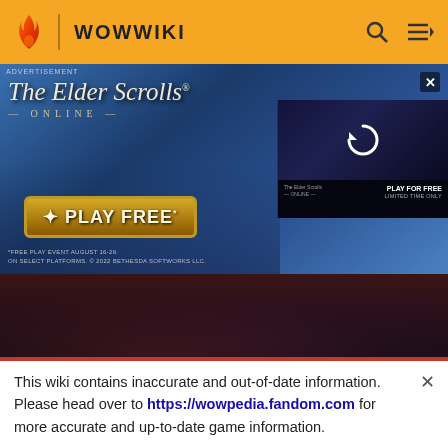WOWWIKI
[Figure (screenshot): Advertisement for The Elder Scrolls Online featuring 'PLAY FREE' button and a secondary panel with a refresh icon and 'PLAY FOR FREE LIMITED TIME ONLY' text]
[Figure (screenshot): Dark in-game screenshot showing characters in a dimly lit purple/red environment]
This wiki contains inaccurate and out-of-date information. Please head over to https://wowpedia.fandom.com for more accurate and up-to-date game information.